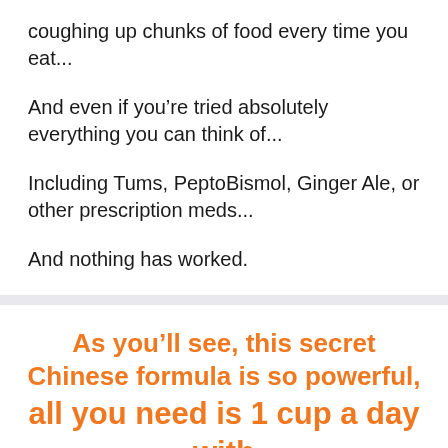coughing up chunks of food every time you eat...
And even if you're tried absolutely everything you can think of...
Including Tums, PeptoBismol, Ginger Ale, or other prescription meds...
And nothing has worked.
As you'll see, this secret Chinese formula is so powerful, all you need is 1 cup a day with